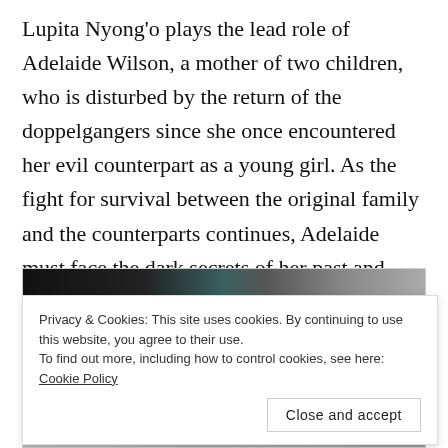Lupita Nyong'o plays the lead role of Adelaide Wilson, a mother of two children, who is disturbed by the return of the doppelgangers since she once encountered her evil counterpart as a young girl. As the fight for survival between the original family and the counterparts continues, Adelaide must face the dark secrets of her past and uncover the truth behind why the doppelgangers are attacking.
[Figure (photo): A photo partially visible showing what appears to be a person, partially obscured by a cookie consent banner overlay.]
Privacy & Cookies: This site uses cookies. By continuing to use this website, you agree to their use.
To find out more, including how to control cookies, see here: Cookie Policy
Close and accept